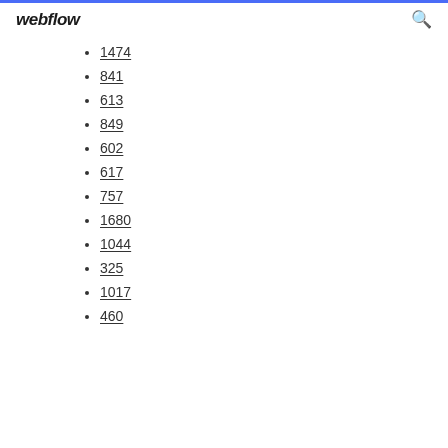webflow
1474
841
613
849
602
617
757
1680
1044
325
1017
460